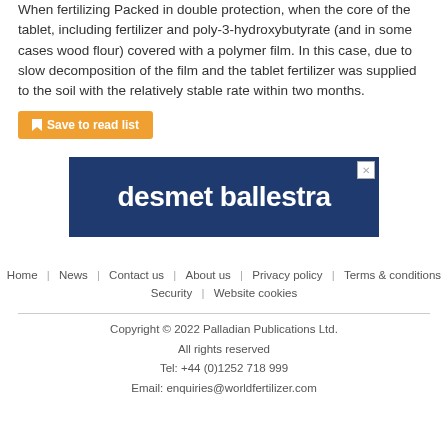When fertilizing Packed in double protection, when the core of the tablet, including fertilizer and poly-3-hydroxybutyrate (and in some cases wood flour) covered with a polymer film. In this case, due to slow decomposition of the film and the tablet fertilizer was supplied to the soil with the relatively stable rate within two months.
Save to read list
[Figure (logo): desmet ballestra advertisement banner - dark blue background with white bold text reading 'desmet ballestra' and a small close button in top right corner]
Home | News | Contact us | About us | Privacy policy | Terms & conditions | Security | Website cookies
Copyright © 2022 Palladian Publications Ltd.
All rights reserved
Tel: +44 (0)1252 718 999
Email: enquiries@worldfertilizer.com